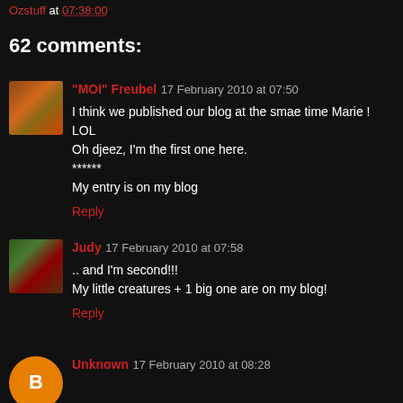Ozstuff at 07:38:00
62 comments:
"MOI" Freubel 17 February 2010 at 07:50
I think we published our blog at the smae time Marie ! LOL
Oh djeez, I'm the first one here.
******
My entry is on my blog
Reply
Judy 17 February 2010 at 07:58
.. and I'm second!!!
My little creatures + 1 big one are on my blog!
Reply
Unknown 17 February 2010 at 08:28